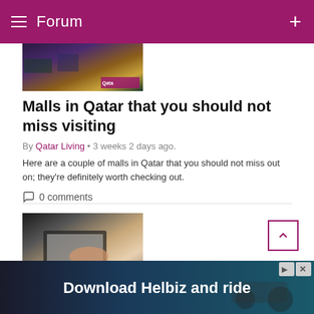Forum
[Figure (photo): Partial image of a Qatar mall interior at night with colorful lighting and a Qatar Living logo badge]
Malls in Qatar that you should not miss visiting
By Qatar Living • 3 weeks 2 days ago.
Here are a couple of malls in Qatar that you should not miss out on; they're definitely worth checking out.
0 comments
[Figure (photo): Person typing on a laptop computer at a desk]
HMC encourages use of online service for medical...
By QLNew...
The pub...                                                                                which
[Figure (photo): Advertisement banner: Download Helbiz and ride, with scooter image]